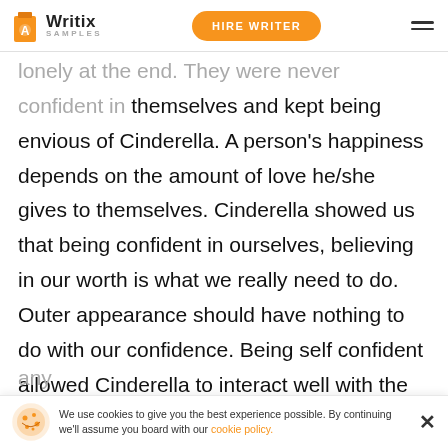Writix SAMPLES | HIRE WRITER
lonely at the end. They were never confident in themselves and kept being envious of Cinderella. A person's happiness depends on the amount of love he/she gives to themselves. Cinderella showed us that being confident in ourselves, believing in our worth is what we really need to do. Outer appearance should have nothing to do with our confidence. Being self confident allowed Cinderella to interact well with the people around her as well as the prince. It was a step towards a good and happy life. Self confidence is vital to ones happiness. If Cinderella did not feel good about herself she would not have been able to get any
We use cookies to give you the best experience possible. By continuing we'll assume you board with our cookie policy.